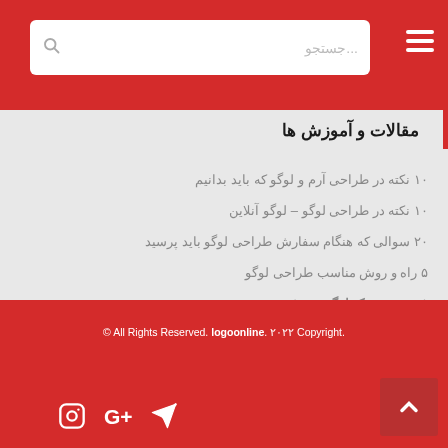جستجو...
مقالات و آموزش ها
۱۰ نکته در طراحی آرم و لوگو که باید بدانیم
۱۰ نکته در طراحی لوگو – لوگو آنلاین
۲۰ سوالی که هنگام سفارش طراحی لوگو باید پرسید
۵ راه و روش مناسب طراحی لوگو
۵ مشخصه یک لوگوی موفق و خوب
© All Rights Reserved. logoonline ۲۰۲۲ Copyright.